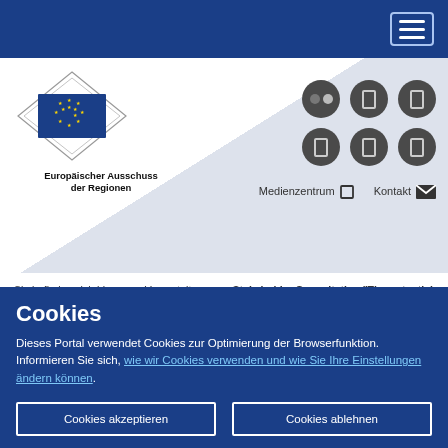Navigation bar with hamburger menu
[Figure (logo): European Committee of the Regions logo with EU flag and diamond border, with text Europäischer Ausschuss der Regionen]
[Figure (infographic): Six social media icon circles (Flickr, and 5 others) arranged in 2 rows of 3]
Medienzentrum  Kontakt
Sie befinden sich hier > □ > Veranstaltungen > Stakeholder Consultation "The potential of the rail sector in delivering EU policy priorities"
Cookies
Dieses Portal verwendet Cookies zur Optimierung der Browserfunktion. Informieren Sie sich, wie wir Cookies verwenden und wie Sie Ihre Einstellungen ändern können.
Cookies akzeptieren  Cookies ablehnen